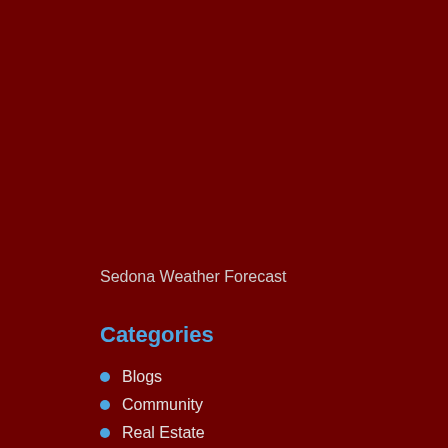Sedona Weather Forecast
Categories
Blogs
Community
Real Estate
Sedona Events